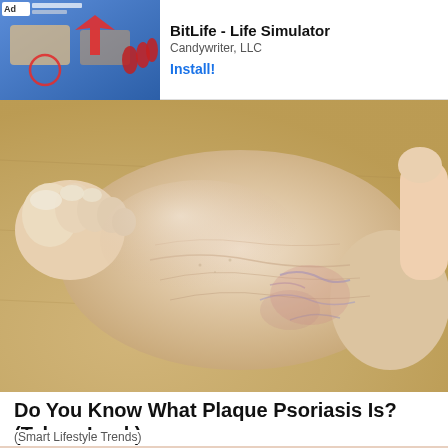[Figure (screenshot): Mobile app advertisement banner for BitLife - Life Simulator by Candywriter, LLC with Install button, showing ad image with red fingernails on left]
[Figure (photo): Close-up photo of a human foot/heel showing dry, scaly skin consistent with plaque psoriasis, held against a light wooden background]
Do You Know What Plaque Psoriasis Is? (Take a Look)
(Smart Lifestyle Trends)
[Figure (photo): Partial photo of a woman with dark hair and well-defined eyebrows, appearing to wink, cropped at forehead level]